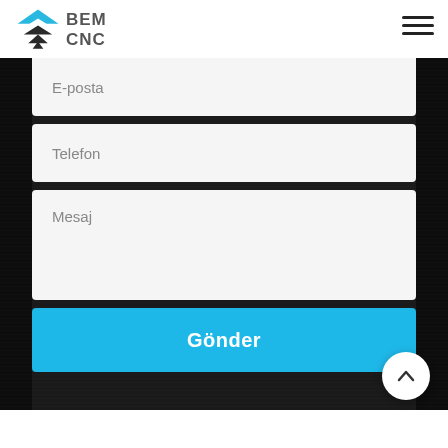[Figure (logo): BEM CNC logo with blue triangular/arrow down emblem and text BEM CNC]
[Figure (other): Hamburger menu icon (three horizontal lines)]
E-posta
Telefon
Mesaj
Gönder
[Figure (other): Scroll to top button (white circle with upward caret)]